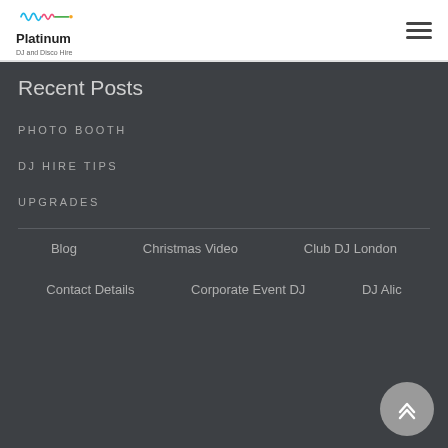Platinum DJ and Disco Hire
Recent Posts
PHOTO BOOTH
DJ HIRE TIPS
UPGRADES
Blog
Christmas Video
Club DJ London
Contact Details
Corporate Event DJ
DJ Alice